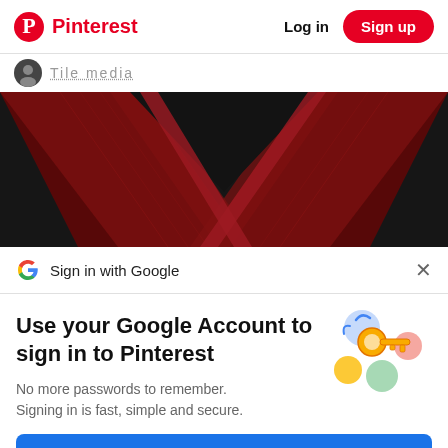Pinterest  Log in  Sign up
Tile media
[Figure (photo): Dark textured background with red diagonal chevron V-shape cross pattern, metallic and leather-like texture]
Sign in with Google  ×
Use your Google Account to sign in to Pinterest
[Figure (illustration): Google key illustration with colorful circles and a golden key icon representing Google account security]
No more passwords to remember. Signing in is fast, simple and secure.
Continue